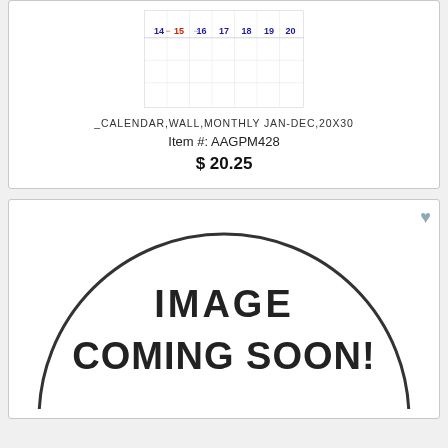[Figure (illustration): Partial view of a wall calendar showing dates 14-20 with weekly grid lines]
_CALENDAR,WALL,MONTHLY JAN-DEC,20X30
Item #: AAGPM428
$ 20.25
[Figure (illustration): Placeholder image with large circle outline and text IMAGE COMING SOON! inside]